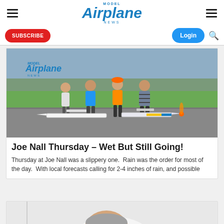Model Airplane News — SUBSCRIBE | Login | Search
[Figure (photo): Four men standing on an airfield tarmac with model airplanes in front of them. The Model Airplane News logo appears in the upper left of the image. Green hills and a cityscape are visible in the background.]
Joe Nall Thursday – Wet But Still Going!
Thursday at Joe Nall was a slippery one.  Rain was the order for most of the day.  With local forecasts calling for 2-4 inches of rain, and possible
[Figure (photo): A person leaning over, partially visible, appears to be working on something. The image is partially cut off at the bottom of the page.]